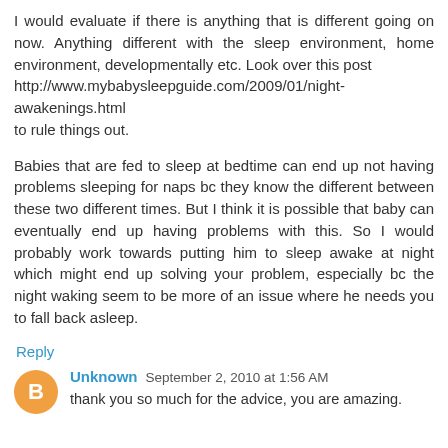I would evaluate if there is anything that is different going on now. Anything different with the sleep environment, home environment, developmentally etc. Look over this post http://www.mybabysleepguide.com/2009/01/night-awakenings.html to rule things out.

Babies that are fed to sleep at bedtime can end up not having problems sleeping for naps bc they know the different between these two different times. But I think it is possible that baby can eventually end up having problems with this. So I would probably work towards putting him to sleep awake at night which might end up solving your problem, especially bc the night waking seem to be more of an issue where he needs you to fall back asleep.
Reply
Unknown  September 2, 2010 at 1:56 AM
thank you so much for the advice, you are amazing.